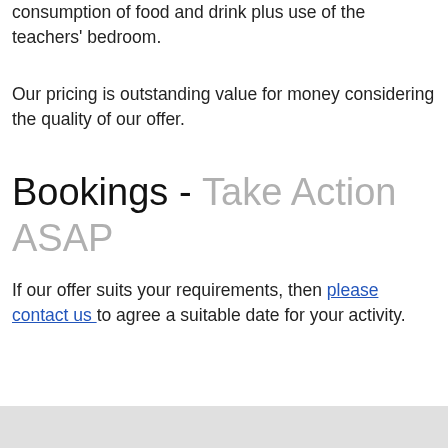consumption of food and drink plus use of the teachers' bedroom.
Our pricing is outstanding value for money considering the quality of our offer.
Bookings - Take Action ASAP
If our offer suits your requirements, then please contact us to agree a suitable date for your activity.